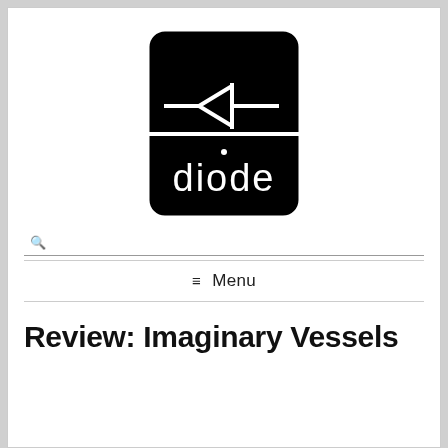[Figure (logo): Diode Press logo: a black rounded rectangle with a diode circuit symbol (triangle pointing left with a vertical bar) in white in the upper portion, and the word 'diode' in white sans-serif letters in the lower portion.]
Menu
Review: Imaginary Vessels